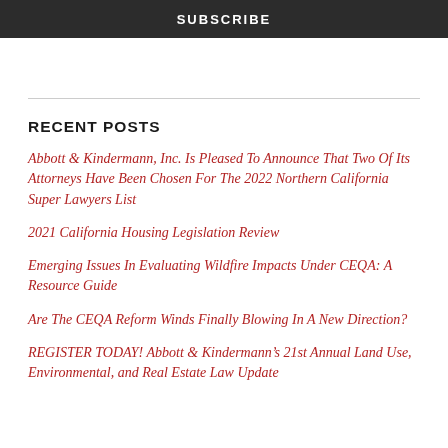SUBSCRIBE
RECENT POSTS
Abbott & Kindermann, Inc. Is Pleased To Announce That Two Of Its Attorneys Have Been Chosen For The 2022 Northern California Super Lawyers List
2021 California Housing Legislation Review
Emerging Issues In Evaluating Wildfire Impacts Under CEQA: A Resource Guide
Are The CEQA Reform Winds Finally Blowing In A New Direction?
REGISTER TODAY! Abbott & Kindermann’s 21st Annual Land Use, Environmental, and Real Estate Law Update